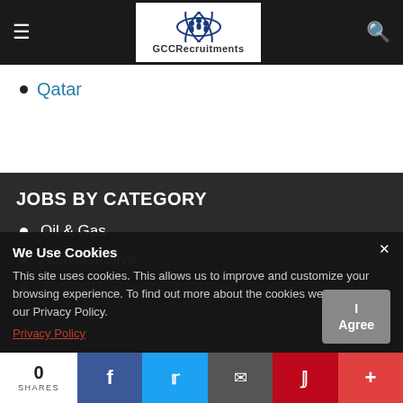[Figure (logo): GCCRecruitments logo with icon and text on white background in dark header bar]
Qatar
JOBS BY CATEGORY
Oil & Gas
Administrative
Accounts, Finance Jobs
We Use Cookies
This site uses cookies. This allows us to improve and customize your browsing experience. To find out more about the cookies we use, see our Privacy Policy.
Privacy Policy
0 SHARES | Facebook | Twitter | Email | Pinterest | Plus